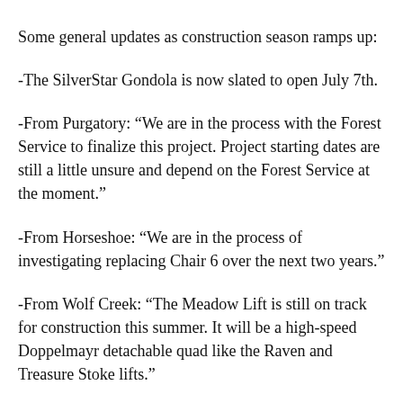Some general updates as construction season ramps up:
-The SilverStar Gondola is now slated to open July 7th.
-From Purgatory: “We are in the process with the Forest Service to finalize this project. Project starting dates are still a little unsure and depend on the Forest Service at the moment.”
-From Horseshoe: “We are in the process of investigating replacing Chair 6 over the next two years.”
-From Wolf Creek: “The Meadow Lift is still on track for construction this summer. It will be a high-speed Doppelmayr detachable quad like the Raven and Treasure Stoke lifts.”
-Aspen Highlands’ race lift is still waiting for Forest Service